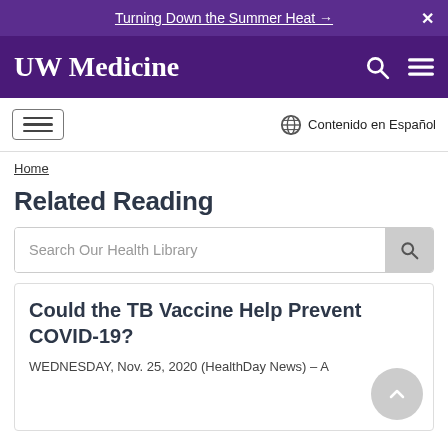Turning Down the Summer Heat →  X
[Figure (logo): UW Medicine logo with search and menu icons on purple background]
[Figure (screenshot): Secondary navigation bar with hamburger menu button and Contenido en Español link]
Home
Related Reading
[Figure (screenshot): Search bar with placeholder text 'Search Our Health Library' and a search button]
Could the TB Vaccine Help Prevent COVID-19?
WEDNESDAY, Nov. 25, 2020 (HealthDay News) – A